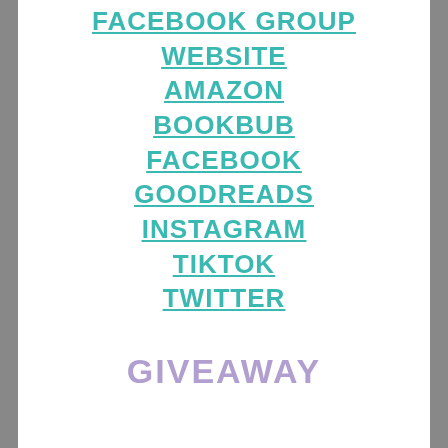FACEBOOK GROUP
WEBSITE
AMAZON
BOOKBUB
FACEBOOK
GOODREADS
INSTAGRAM
TIKTOK
TWITTER
GIVEAWAY